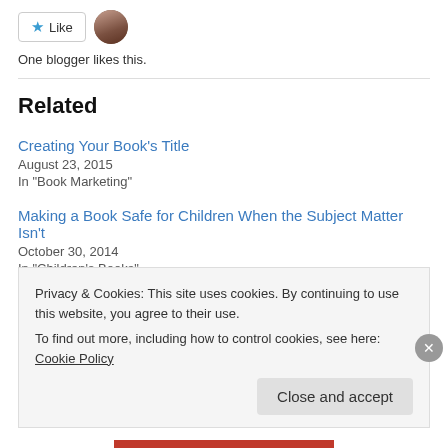[Figure (other): Like button with star icon and blogger avatar photo]
One blogger likes this.
Related
Creating Your Book's Title
August 23, 2015
In "Book Marketing"
Making a Book Safe for Children When the Subject Matter Isn't
October 30, 2014
In "Children's Books"
How Putting Together a Picture Book Is Like Managing a
Privacy & Cookies: This site uses cookies. By continuing to use this website, you agree to their use.
To find out more, including how to control cookies, see here: Cookie Policy